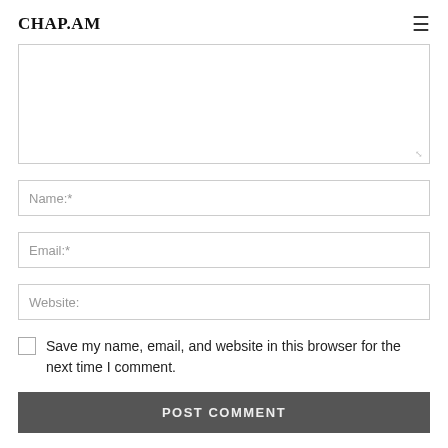CHAP.AM
Name:*
Email:*
Website:
Save my name, email, and website in this browser for the next time I comment.
POST COMMENT